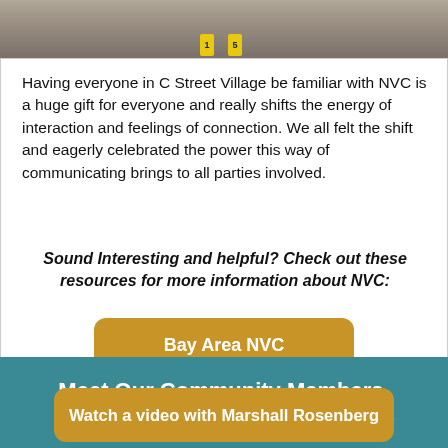[Figure (photo): Photo strip showing a floor scene with yellow numbered evidence markers]
Having everyone in C Street Village be familiar with NVC is a huge gift for everyone and really shifts the energy of interaction and feelings of connection. We all felt the shift and eagerly celebrated the power this way of communicating brings to all parties involved.
Sound Interesting and helpful? Check out these resources for more information about NVC:
Bay Area NVC
Watch a video with Marshall Rosenberg
Meet Our Community Members, Elina Coulter, Paul Chaffee, & Laszlo Chaffee